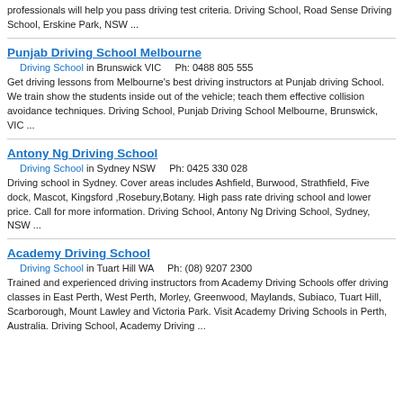professionals will help you pass driving test criteria. Driving School, Road Sense Driving School, Erskine Park, NSW ...
Punjab Driving School Melbourne
Driving School in Brunswick VIC    Ph: 0488 805 555
Get driving lessons from Melbourne's best driving instructors at Punjab driving School. We train show the students inside out of the vehicle; teach them effective collision avoidance techniques. Driving School, Punjab Driving School Melbourne, Brunswick, VIC ...
Antony Ng Driving School
Driving School in Sydney NSW    Ph: 0425 330 028
Driving school in Sydney. Cover areas includes Ashfield, Burwood, Strathfield, Five dock, Mascot, Kingsford ,Rosebury,Botany. High pass rate driving school and lower price. Call for more information. Driving School, Antony Ng Driving School, Sydney, NSW ...
Academy Driving School
Driving School in Tuart Hill WA    Ph: (08) 9207 2300
Trained and experienced driving instructors from Academy Driving Schools offer driving classes in East Perth, West Perth, Morley, Greenwood, Maylands, Subiaco, Tuart Hill, Scarborough, Mount Lawley and Victoria Park. Visit Academy Driving Schools in Perth, Australia. Driving School, Academy Driving ...